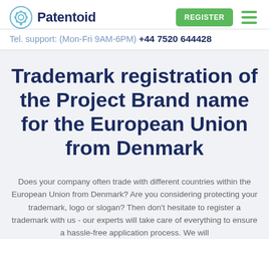Patentoid | Tel. support: (Mon-Fri 9AM-6PM) +44 7520 644428
Trademark registration of the Project Brand name for the European Union from Denmark
Does your company often trade with different countries within the European Union from Denmark? Are you considering protecting your trademark, logo or slogan? Then don't hesitate to register a trademark with us - our experts will take care of everything to ensure a hassle-free application process. We will